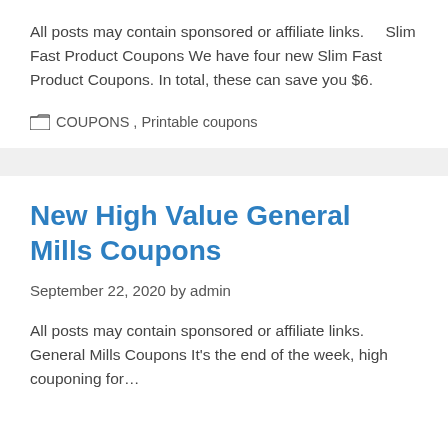All posts may contain sponsored or affiliate links.    Slim Fast Product Coupons We have four new Slim Fast Product Coupons. In total, these can save you $6.
COUPONS, Printable coupons
New High Value General Mills Coupons
September 22, 2020 by admin
All posts may contain sponsored or affiliate links. General Mills Coupons It's the end of the week, high couponing for...